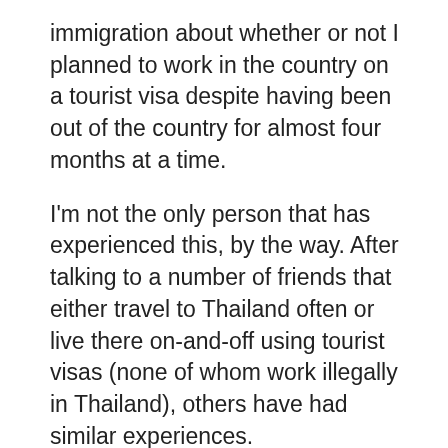immigration about whether or not I planned to work in the country on a tourist visa despite having been out of the country for almost four months at a time.
I'm not the only person that has experienced this, by the way. After talking to a number of friends that either travel to Thailand often or live there on-and-off using tourist visas (none of whom work illegally in Thailand), others have had similar experiences.
Another factor that's undoubtedly causing this exodus is the overly strong Thai baht. When I first moved to Thailand, one US dollar bought almost 40 baht. Today, it barely gets you 30 baht. Along with this strong currency there's also been a huge increase in costs, meaning that an item that cost 100 baht ($2.50 USD about a decade ago) may now cost 200 baht